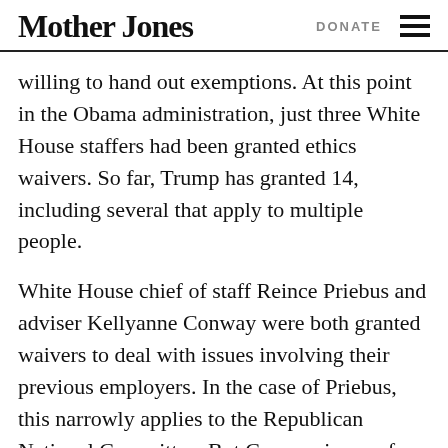Mother Jones  DONATE
willing to hand out exemptions. At this point in the Obama administration, just three White House staffers had been granted ethics waivers. So far, Trump has granted 14, including several that apply to multiple people.
White House chief of staff Reince Priebus and adviser Kellyanne Conway were both granted waivers to deal with issues involving their previous employers. In the case of Priebus, this narrowly applies to the Republican National Committee. But Conway is now free to work on issues involving her ex-clients from her previous life as an operative and pollster—clients that included political campaigns,